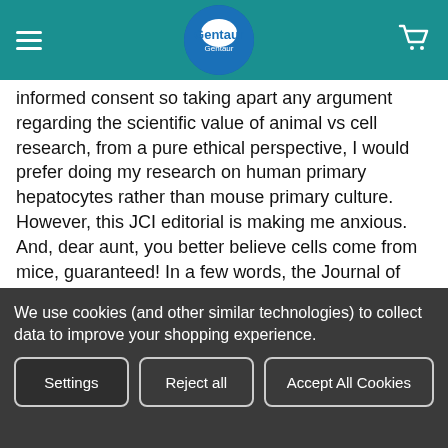Gentaur navigation header with hamburger menu, Gentaur logo, and cart icon
informed consent so taking apart any argument regarding the scientific value of animal vs cell research, from a pure ethical perspective, I would prefer doing my research on human primary hepatocytes rather than mouse primary culture. However, this JCI editorial is making me anxious. And, dear aunt, you better believe cells come from mice, guaranteed! In a few words, the Journal of Clinical Investigation is making an aut aut embargo on Chinese research papers regarding transplantation. Says the Editor in chief:
(we will no longer consider) for
We use cookies (and other similar technologies) to collect data to improve your shopping experience.